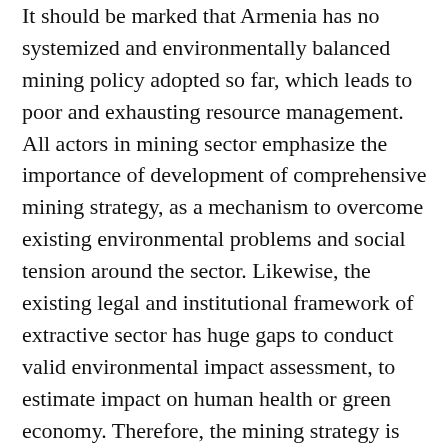It should be marked that Armenia has no systemized and environmentally balanced mining policy adopted so far, which leads to poor and exhausting resource management. All actors in mining sector emphasize the importance of development of comprehensive mining strategy, as a mechanism to overcome existing environmental problems and social tension around the sector. Likewise, the existing legal and institutional framework of extractive sector has huge gaps to conduct valid environmental impact assessment, to estimate impact on human health or green economy. Therefore, the mining strategy is perceived to be the most important document with regard to improvement of economic and environmental policy in the extractive sector, as well as social justice for mining-affected communities.
The main activities of the project are: